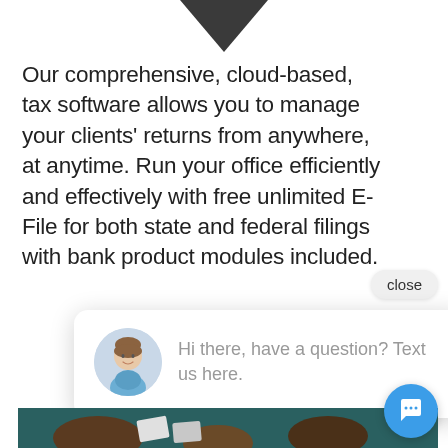[Figure (illustration): Dark downward-pointing triangle/arrow at top center of page]
Our comprehensive, cloud-based, tax software allows you to manage your clients' returns from anywhere, at anytime. Run your office efficiently and effectively with free unlimited E-File for both state and federal filings with bank product modules included.
[Figure (screenshot): Chat popup widget showing avatar photo of a woman in blue top with text 'Hi there, have a question? Text us here.' with a close button, gold and gray bars, and a blue chat icon button at bottom right.]